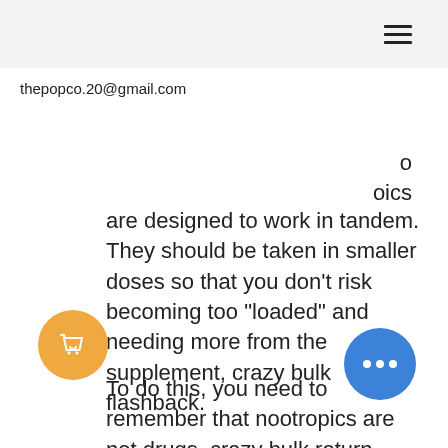[hamburger menu icon]
thepopco.20@gmail.com
o
oics
are designed to work in tandem. They should be taken in smaller doses so that you don't risk becoming too "loaded" and needing more from the supplement, crazy bulk flashback.
To do this, you need to remember that nootropics are not drugs, crazy bulk return policy3. As long as you ingest them properly, they will have the best possible effect. It doesn't matter if they are a supplement of some sort or a pill of some kind, bulk flashback crazy. They will work equally well, crazy bulk return policy5.